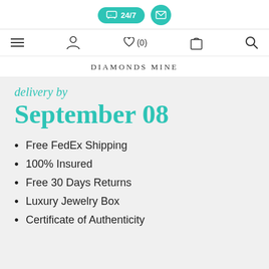24/7 [chat icon] [email icon]
≡ [user icon] ♡(0) [bag icon] [search icon]
DIAMONDS MINE
September 08
Free FedEx Shipping
100% Insured
Free 30 Days Returns
Luxury Jewelry Box
Certificate of Authenticity